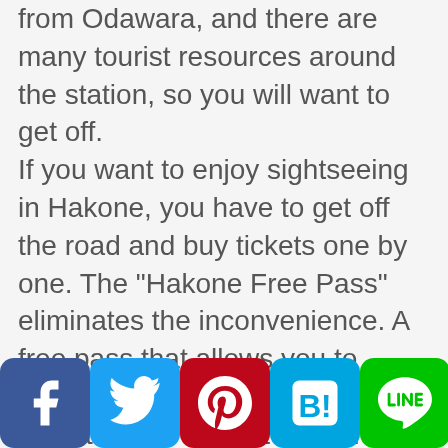from Odawara, and there are many tourist resources around the station, so you will want to get off. If you want to enjoy sightseeing in Hakone, you have to get off the road and buy tickets one by one. The "Hakone Free Pass" eliminates the inconvenience. A free pass that allows you to enjoy sightseeing where you want to go is a great value for your trip in Hakone. There are plenty of highlights in the four seasons of Hakone, such as "cherry blossoms" in the early spring along the Hakone Tozan Railway, "hydrangea" in early summer, and "autumn leaves" that begin to dye in autumn. A leisurely trip on the Hakone Tozan train is recommended.
[Figure (infographic): Social media share buttons: Facebook (blue), Twitter (light blue), Pinterest (dark red), Hatena Bookmark (blue), LINE (green), Plus/Add (dark blue)]
Hakone Tozan Railway has a steep rail line from Odawara to Ohiradai Station that passes